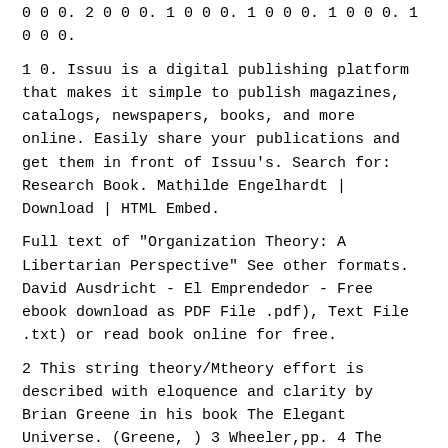0 0 0. 2 0 0 0. 1 0 0 0. 1 0 0 0. 1 0 0 0. 1 0 0 0.
1 0. Issuu is a digital publishing platform that makes it simple to publish magazines, catalogs, newspapers, books, and more online. Easily share your publications and get them in front of Issuu's. Search for: Research Book. Mathilde Engelhardt | Download | HTML Embed.
Full text of "Organization Theory: A Libertarian Perspective" See other formats. David Ausdricht - El Emprendedor - Free ebook download as PDF File .pdf), Text File .txt) or read book online for free.
2 This string theory/Mtheory effort is described with eloquence and clarity by Brian Greene in his book The Elegant Universe. (Greene, ) 3 Wheeler,pp. 4 The maya quotes are from Rice,p. 5 The Upanishad passages are from the translation by W.B.
Yeats and Shree Puro-hit Swami in Griffith, 6 Rice,p. HANDBOOK OF RESEARCH ON ENTREPRENEURSHIP POLICY Handbook of Research on Entrepreneurship Policy Edited by David B.
Audretsch Director, Max Planck Institute of Economics, Jena, Germany and Ameritech Chair of Economic Development, Indiana